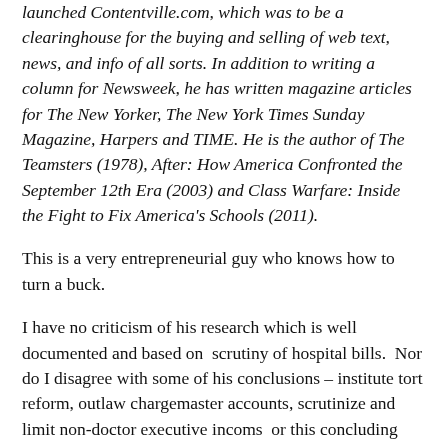launched Contentville.com, which was to be a clearinghouse for the buying and selling of web text, news, and info of all sorts. In addition to writing a column for Newsweek, he has written magazine articles for The New Yorker, The New York Times Sunday Magazine, Harpers and TIME. He is the author of The Teamsters (1978), After: How America Confronted the September 12th Era (2003) and Class Warfare: Inside the Fight to Fix America's Schools (2011).
This is a very entrepreneurial guy who knows how to turn a buck.
I have no criticism of his research which is well documented and based on  scrutiny of hospital bills.  Nor do I disagree with some of his conclusions – institute tort reform, outlaw chargemaster accounts, scrutinize and limit non-doctor executive incoms  or this concluding paragraph,
“Over the past few decades, we’ve enriched the labs, drug